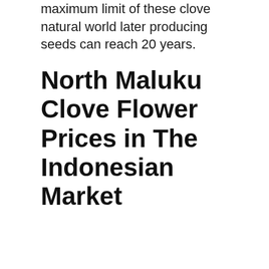maximum limit of these clove natural world later producing seeds can reach 20 years.
North Maluku Clove Flower Prices in The Indonesian Market